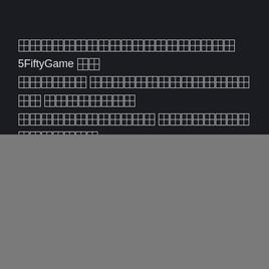[tofu characters] 5FiftyGame [tofu] [tofu characters] [tofu characters] [tofu characters] [tofu characters] [tofu characters]
[Figure (screenshot): Dark gray background section in the lower half of the page]